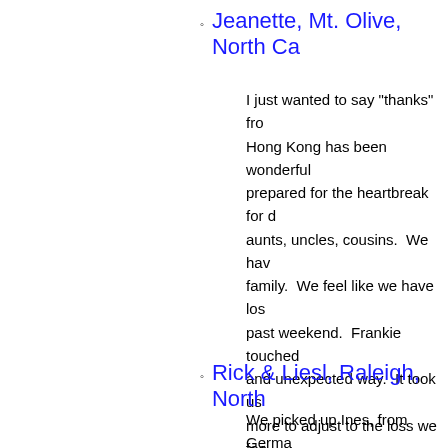Jeanette, Mt. Olive, North Ca…
I just wanted to say "thanks" fro… Hong Kong has been wonderful… prepared for the heartbreak for d… aunts, uncles, cousins.  We hav… family.  We feel like we have los… past weekend.  Frankie touched… and unexpected way.  It took us… more to adjust to the loss we fee… when I wanted to adopt a child.… spent weeks researching foreign… Meredith, also felt a strong sens… reasons, we did not end up purs… Frankie could live with us… feeling that this was someone w… this was the child that would nee… count on was how much differen… making this experience possible… love her any more were she bor…
Rick & Liesl, Raleigh, North …
We picked up Ines, from Germa… took a bit of time, but within a fo…